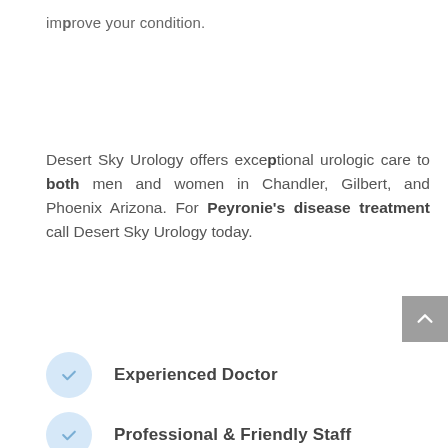improve your condition.
Desert Sky Urology offers exceptional urologic care to both men and women in Chandler, Gilbert, and Phoenix Arizona. For Peyronie's disease treatment call Desert Sky Urology today.
Experienced Doctor
Professional & Friendly Staff